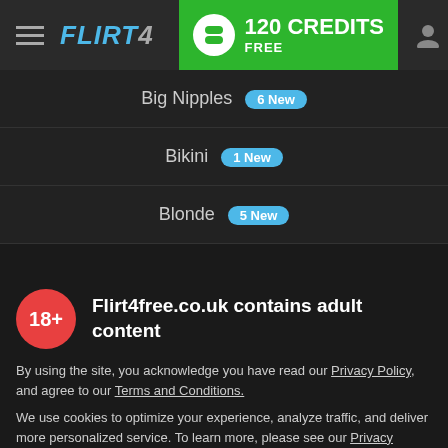FLIRT4FREE — 120 CREDITS FREE
Big Nipples — 6 New
Bikini — 1 New
Blonde — 5 New
Blowjobs — 12 New
Bodybuilding
Bondage
Brazilian
18+ Flirt4free.co.uk contains adult content
By using the site, you acknowledge you have read our Privacy Policy, and agree to our Terms and Conditions.
We use cookies to optimize your experience, analyze traffic, and deliver more personalized service. To learn more, please see our Privacy Policy.
I AGREE